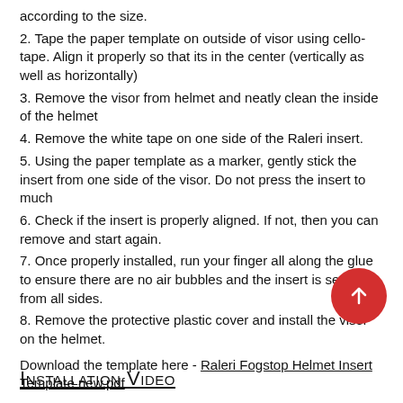according to the size.
2. Tape the paper template on outside of visor using cello-tape. Align it properly so that its in the center (vertically as well as horizontally)
3. Remove the visor from helmet and neatly clean the inside of the helmet
4. Remove the white tape on one side of the Raleri insert.
5. Using the paper template as a marker, gently stick the insert from one side of the visor. Do not press the insert to much
6. Check if the insert is properly aligned. If not, then you can remove and start again.
7. Once properly installed, run your finger all along the glue to ensure there are no air bubbles and the insert is sealed from all sides.
8. Remove the protective plastic cover and install the visor on the helmet.
Download the template here - Raleri Fogstop Helmet Insert Template new.pdf
Installation Video